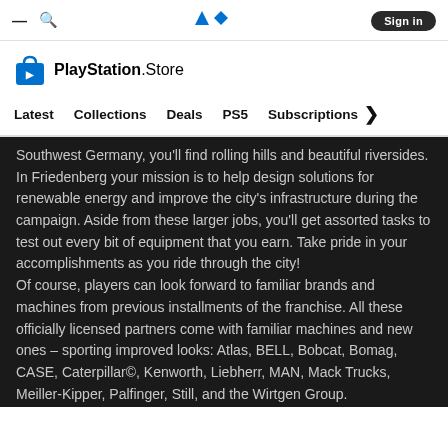PlayStation Store navigation bar with hamburger menu, search icon, PlayStation logo, and Sign in button
[Figure (logo): PlayStation Store logo with shopping bag icon and text 'PlayStation.Store']
Latest   Collections   Deals   PS5   Subscriptions >
Southwest Germany, you'll find rolling hills and beautiful riversides. In Friedenberg your mission is to help design solutions for renewable energy and improve the city's infrastructure during the campaign. Aside from these larger jobs, you'll get assorted tasks to test out every bit of equipment that you earn. Take pride in your accomplishments as you ride through the city!
Of course, players can look forward to familiar brands and machines from previous installments of the franchise. All these officially licensed partners come with familiar machines and new ones – sporting improved looks: Atlas, BELL, Bobcat, Bomag, CASE, Caterpillar©, Kenworth, Liebherr, MAN, Mack Trucks, Meiller-Kipper, Palfinger, Still, and the Wirtgen Group.
In addition to the known license partners, players can enjoy a new selection: Benninghoven of the Wirtgen